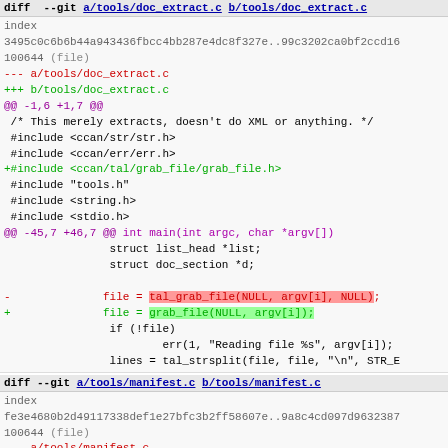diff --git a/tools/doc_extract.c b/tools/doc_extract.c
index 3495c0c6b6b44a943436fbcc4bb287e4dc8f327e..99c3202ca0bf2ccd16
100644 (file)
--- a/tools/doc_extract.c
+++ b/tools/doc_extract.c
@@ -1,6 +1,7 @@
 /* This merely extracts, doesn't do XML or anything. */
 #include <ccan/str/str.h>
 #include <ccan/err/err.h>
+#include <ccan/tal/grab_file/grab_file.h>
 #include "tools.h"
 #include <string.h>
 #include <stdio.h>
@@ -45,7 +46,7 @@ int main(int argc, char *argv[])
                 struct list_head *list;
                 struct doc_section *d;

-                file = tal_grab_file(NULL, argv[i], NULL);
+                file = grab_file(NULL, argv[i]);
                 if (!file)
                         err(1, "Reading file %s", argv[i]);
                 lines = tal_strsplit(file, file, "\n", STR_E
diff --git a/tools/manifest.c b/tools/manifest.c
index fe3e4680b2d49117338def1e27bfc3b2ff58607e..9a8c4cd097d9632387
100644 (file)
--- a/tools/manifest.c
+++ b/tools/manifest.c
@@ -3,6 +3,7 @@
 #include "tools.h"